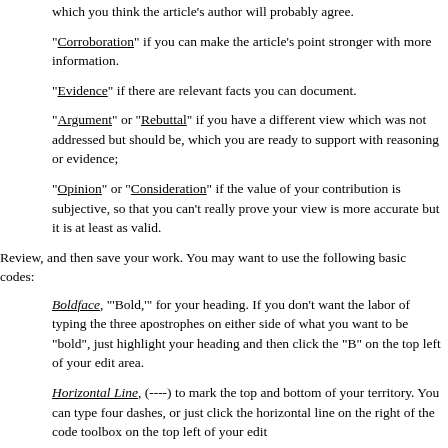which you think the article's author will probably agree.
"Corroboration" if you can make the article's point stronger with more information.
"Evidence" if there are relevant facts you can document.
"Argument" or "Rebuttal" if you have a different view which was not addressed but should be, which you are ready to support with reasoning or evidence;
"Opinion" or "Consideration" if the value of your contribution is subjective, so that you can't really prove your view is more accurate but it is at least as valid.
Review, and then save your work. You may want to use the following basic codes:
Boldface, "'Bold,'" for your heading. If you don't want the labor of typing the three apostrophes on either side of what you want to be "bold", just highlight your heading and then click the "B" on the top left of your edit area.
Horizontal Line, (----) to mark the top and bottom of your territory. You can type four dashes, or just click the horizontal line on the right of the code toolbox on the top left of your edit